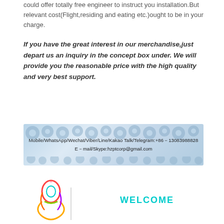could offer totally free engineer to instruct you installation.But relevant cost(Flight,residing and eating etc.)ought to be in your charge.
If you have the great interest in our merchandise,just depart us an inquiry in the concept box under. We will provide you the reasonable price with the high quality and very best support.
[Figure (infographic): Banner with gear/cog wheel decorative background. Text reads: Mobile/WhatsApp/Wechat/Viber/Line/Kakao Talk/Telegram:+86-13083988828 and E-mail/Skype:hzptcorp@gmail.com]
[Figure (logo): Colorful figure-8 or person-shaped logo outline in rainbow colors with vertical dividing line and WELCOME text in cyan/teal color]